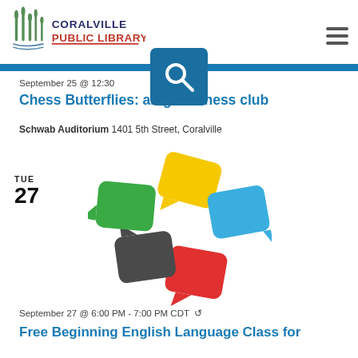Coralville Public Library
September 25 @ 12:30 PM - PM CDT
Chess Butterflies: all-girls chess club
Schwab Auditorium 1401 5th Street, Coralville
TUE 27
[Figure (illustration): Five colorful speech bubble icons arranged in a circular pinwheel pattern: yellow (top), blue (right), red (bottom-right), dark gray (bottom-left), green (left)]
September 27 @ 6:00 PM - 7:00 PM CDT
Free Beginning English Language Class for